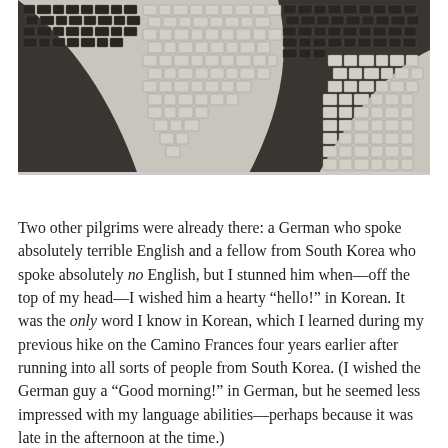[Figure (photo): Close-up photograph of black and white cobblestone pavement in a decorative mosaic pattern, typical of Portuguese calçada portuguesa.]
Two other pilgrims were already there: a German who spoke absolutely terrible English and a fellow from South Korea who spoke absolutely no English, but I stunned him when—off the top of my head—I wished him a hearty “hello!” in Korean. It was the only word I know in Korean, which I learned during my previous hike on the Camino Frances four years earlier after running into all sorts of people from South Korea. (I wished the German guy a “Good morning!” in German, but he seemed less impressed with my language abilities—perhaps because it was late in the afternoon at the time.)
The South Korean guy told me he had just finished hiking the Camino Frances, then took the train to Porto to do the Portuguese Way. He showed me his first credencial and the